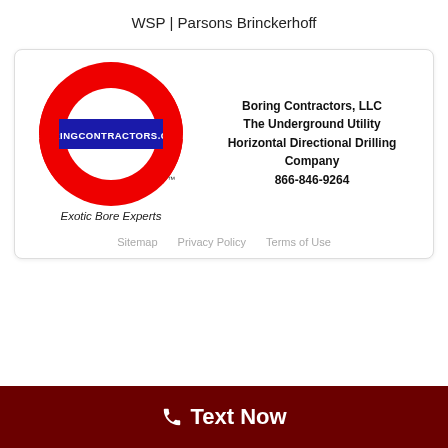WSP | Parsons Brinckerhoff
[Figure (logo): Boring Contractors logo: red circle ring with blue rectangular banner reading BORINGCONTRACTORS.COM in white, with TM mark, and italic tagline 'Exotic Bore Experts' below]
Boring Contractors, LLC
The Underground Utility
Horizontal Directional Drilling Company
866-846-9264
Sitemap   Privacy Policy   Terms of Use
Text Now